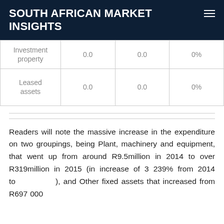SOUTH AFRICAN MARKET INSIGHTS
|  |  |  |  |
| --- | --- | --- | --- |
| Investment property | 0.0 | 0.0 | 0% |
| Leased assets | 0.0 | 0.0 | 0% |
Readers will note the massive increase in the expenditure on two groupings, being Plant, machinery and equipment, that went up from around R9.5million in 2014 to over R319million in 2015 (in increase of 3 239% from 2014 to ), and Other fixed assets that increased from R697 000